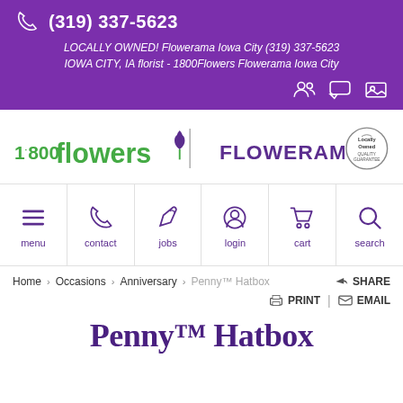(319) 337-5623
LOCALLY OWNED! Flowerama Iowa City (319) 337-5623
IOWA CITY, IA florist - 1800Flowers Flowerama Iowa City
[Figure (logo): 1-800-Flowers and Flowerama logo with Locally Owned badge]
menu | contact | jobs | login | cart | search
Home > Occasions > Anniversary > Penny™ Hatbox  SHARE  PRINT  EMAIL
Penny™ Hatbox